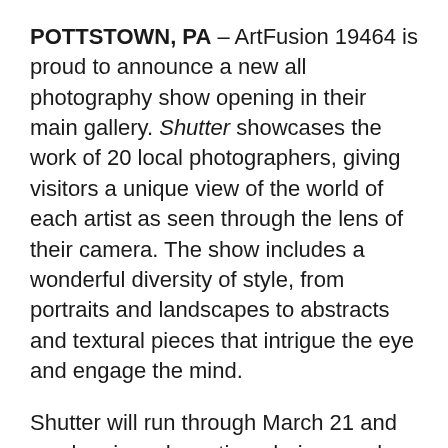POTTSTOWN, PA – ArtFusion 19464 is proud to announce a new all photography show opening in their main gallery. Shutter showcases the work of 20 local photographers, giving visitors a unique view of the world of each artist as seen through the lens of their camera. The show includes a wonderful diversity of style, from portraits and landscapes to abstracts and textural pieces that intrigue the eye and engage the mind.
Shutter will run through March 21 and can be viewed any time during regular hours. The ArtFusion gallery is open Tuesday through Friday from 10am-5pm and Saturday from 10am-3pm. They are closed Sunday and Monday.
ArtFusion invites the greater Pottstown community to a reception on Saturday, March 14 from 12-2pm. Light